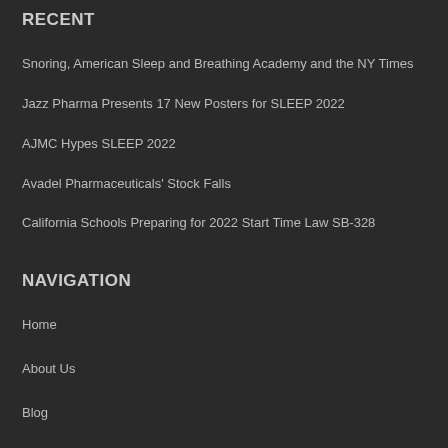RECENT
Snoring, American Sleep and Breathing Academy and the NY Times
Jazz Pharma Presents 17 New Posters for SLEEP 2022
AJMC Hypes SLEEP 2022
Avadel Pharmaceuticals' Stock Falls
California Schools Preparing for 2022 Start Time Law SB-328
NAVIGATION
Home
About Us
Blog